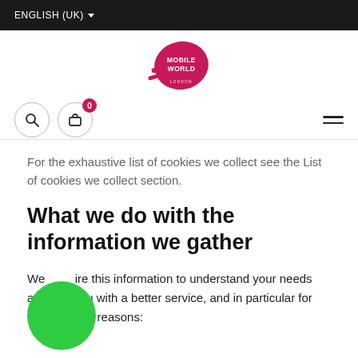ENGLISH (UK)
[Figure (logo): Mobile World London logo — pink circular splash with white text]
For the exhaustive list of cookies we collect see the List of cookies we collect section.
What we do with the information we gather
We require this information to understand your needs and provide you with a better service, and in particular for the following reasons: